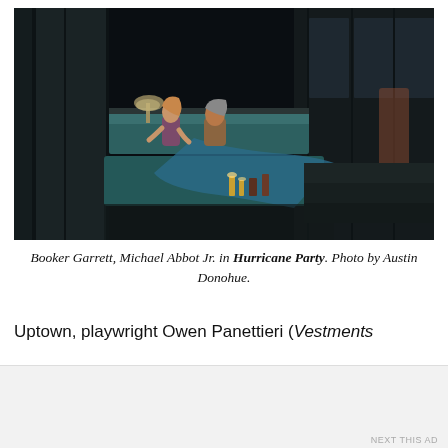[Figure (photo): Theater stage scene showing two actors in a dark dramatic set. One actor leans forward on a surface while another sits. The stage has wooden panel walls, windows, and moody blue-teal lighting with objects on a low table in the foreground.]
Booker Garrett, Michael Abbot Jr. in Hurricane Party. Photo by Austin Donohue.
Uptown, playwright Owen Panettieri (Vestments
Advertisements